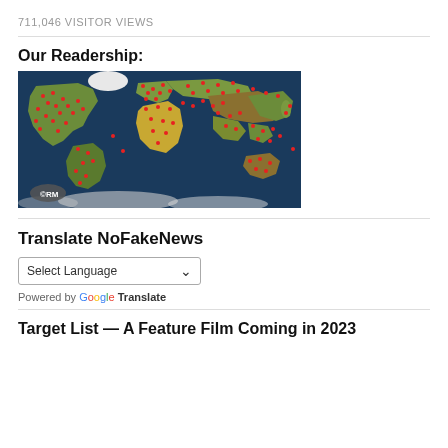711,046 VISITOR VIEWS
Our Readership:
[Figure (map): World map with red dots indicating reader locations across all continents, with an RM logo watermark in the bottom-left corner]
Translate NoFakeNews
Select Language
Powered by Google Translate
Target List — A Feature Film Coming in 2023